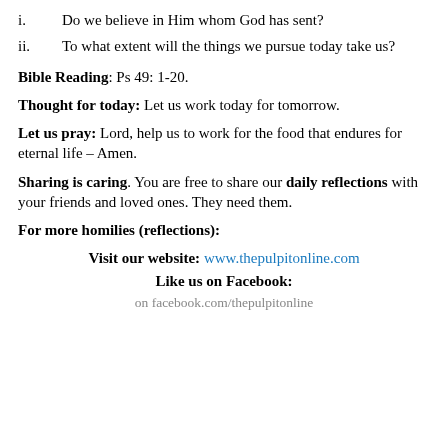i.    Do we believe in Him whom God has sent?
ii.   To what extent will the things we pursue today take us?
Bible Reading: Ps 49: 1-20.
Thought for today: Let us work today for tomorrow.
Let us pray: Lord, help us to work for the food that endures for eternal life – Amen.
Sharing is caring. You are free to share our daily reflections with your friends and loved ones. They need them.
For more homilies (reflections):
Visit our website: www.thepulpitonline.com
Like us on Facebook:
on facebook.com/thepulpitonline